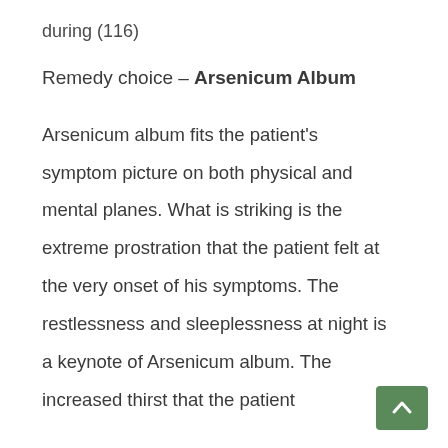during (116)
Remedy choice – Arsenicum Album
Arsenicum album fits the patient's symptom picture on both physical and mental planes. What is striking is the extreme prostration that the patient felt at the very onset of his symptoms. The restlessness and sleeplessness at night is a keynote of Arsenicum album. The increased thirst that the patient